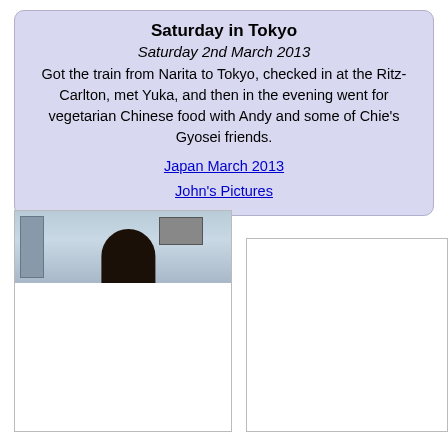Saturday in Tokyo
Saturday 2nd March 2013
Got the train from Narita to Tokyo, checked in at the Ritz-Carlton, met Yuka, and then in the evening went for vegetarian Chinese food with Andy and some of Chie's Gyosei friends.
Japan March 2013
John's Pictures
[Figure (photo): Photo of a person on a train, partially visible, with a door and a sign/picture frame in the background]
[Figure (photo): Partially visible photo box on the right side of the page]